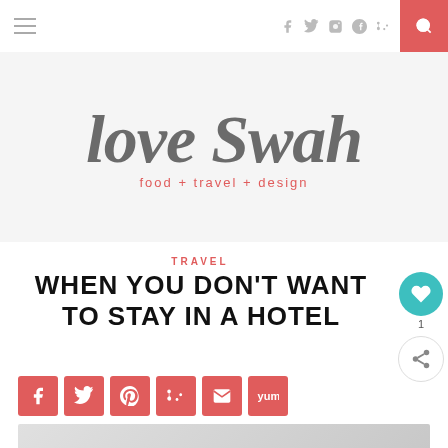Love Swah navigation bar with hamburger menu and social icons (f, twitter, instagram, pinterest, rss) and search
[Figure (logo): Love Swah logo — cursive gray text 'Love Swah' with subtitle 'food + travel + design' in coral/red on light gray background]
TRAVEL
WHEN YOU DON'T WANT TO STAY IN A HOTEL
[Figure (infographic): Social sharing buttons: Facebook, Twitter, Pinterest, StumbleUpon, Email, Yummly — all in coral/red square buttons with white icons]
[Figure (photo): Bottom portion of a photo (partially visible at page bottom)]